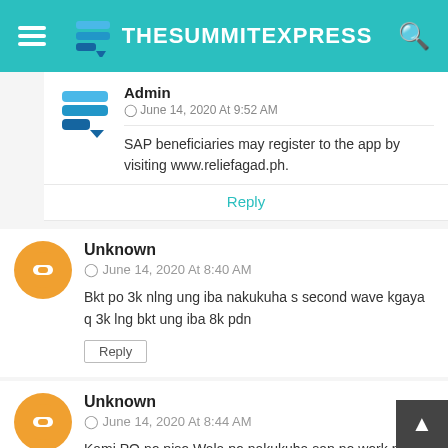TheSummitExpress
Admin
⊙ June 14, 2020 At 9:52 AM
SAP beneficiaries may register to the app by visiting www.reliefagad.ph.
Reply
Unknown
⊙ June 14, 2020 At 8:40 AM
Bkt po 3k nlng ung iba nakukuha s second wave kgaya q 3k lng bkt ung iba 8k pdn
Reply
Unknown
⊙ June 14, 2020 At 8:44 AM
Kami PO no piso Wala po nakukuha sap no work no pay po kami mag Asawa dalawa din po senior sitizin namin dito BLK 10 bayanan muntinlupa city